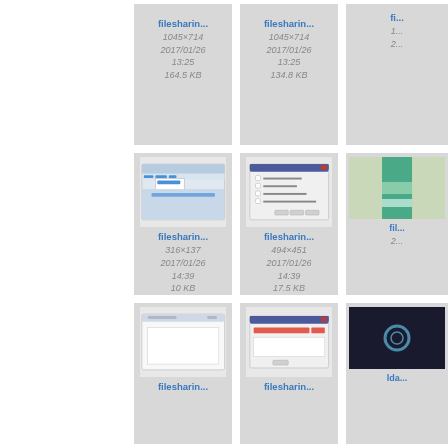[Figure (screenshot): File sharing app screenshot thumbnail, filesharin..., 1045x714, 2017/01/26 13:25, 164.5 KB]
[Figure (screenshot): File sharing app screenshot thumbnail, filesharin..., 1045x714, 2017/01/26 13:25, 134.8 KB]
[Figure (screenshot): Partial thumbnail, cut off on right]
[Figure (screenshot): File sharing app Options menu screenshot, filesharin..., 316x137, 2017/01/26 14:39, 10 KB]
[Figure (screenshot): File sharing app settings dialog screenshot, filesharin..., 494x451, 2017/01/26 14:39, 17.5 KB]
[Figure (screenshot): Partial thumbnail, cut off on right]
[Figure (screenshot): File sharing app blank window screenshot, filesharin..., partial]
[Figure (screenshot): File sharing app dialog screenshot, filesharin..., partial]
[Figure (screenshot): lda... partial thumbnail, cut off on right]